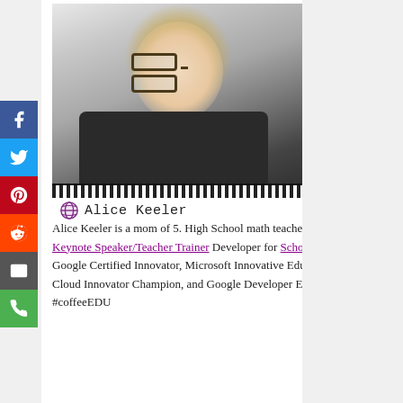[Figure (photo): Profile photo of Alice Keeler, a woman with blonde hair and glasses, smiling, wearing a dark shirt, with a white background. Below the photo is a name card showing a purple globe logo and the text 'Alice Keeler' in monospace font.]
Alice Keeler is a mom of 5. High School math teacher. Author. Keynote Speaker/Teacher Trainer Developer for Schoolytics.com. Google Certified Innovator, Microsoft Innovative Educator, Google Cloud Innovator Champion, and Google Developer Expert. Founder of #coffeeEDU